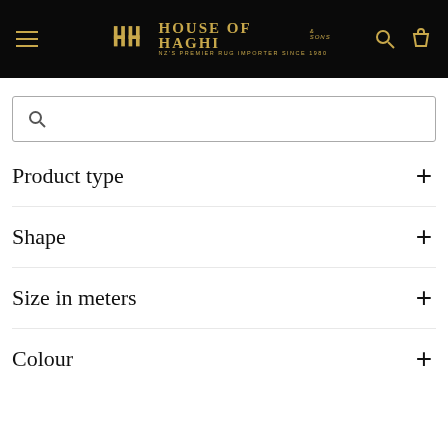House of Haghi — NZ's Premier Rug Importer Since 1980
Search bar
Product type +
Shape +
Size in meters +
Colour +